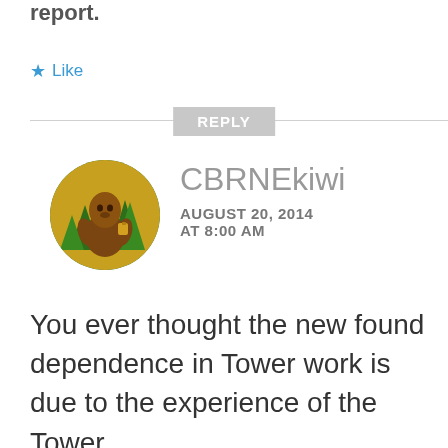report.
★ Like
REPLY
[Figure (illustration): Circular avatar image of a Bigfoot/Sasquatch cartoon character holding something, surrounded by pine trees, on a yellow/gold background]
CBRNEkiwi
AUGUST 20, 2014 AT 8:00 AM
You ever thought the new found dependence in Tower work is due to the experience of the Tower